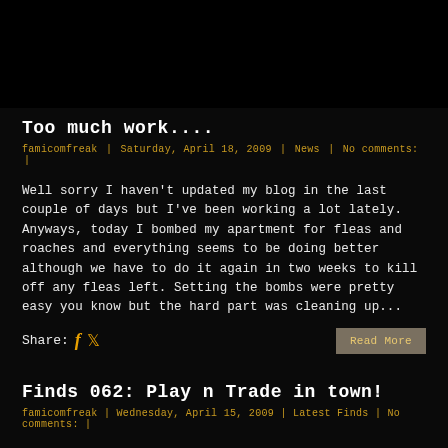Too much work....
famicomfreak | Saturday, April 18, 2009 | News | No comments: |
Well sorry I haven't updated my blog in the last couple of days but I've been working a lot lately. Anyways, today I bombed my apartment for fleas and roaches and everything seems to be doing better although we have to do it again in two weeks to kill off any fleas left. Setting the bombs were pretty easy you know but the hard part was cleaning up...
Share:  [facebook] [twitter]  Read More
Finds 062: Play n Trade in town!
famicomfreak | Wednesday, April 15, 2009 | Latest Finds | No comments: |